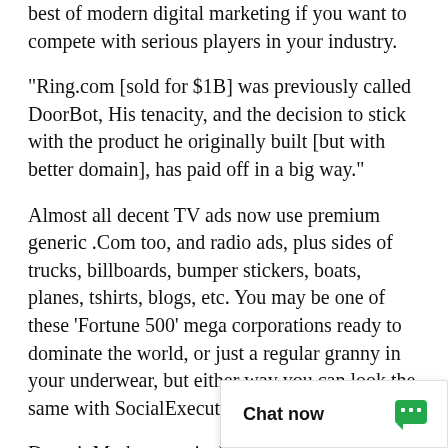best of modern digital marketing if you want to compete with serious players in your industry.
"Ring.com [sold for $1B] was previously called DoorBot, His tenacity, and the decision to stick with the product he originally built [but with better domain], has paid off in a big way."
Almost all decent TV ads now use premium generic .Com too, and radio ads, plus sides of trucks, billboards, bumper stickers, boats, planes, tshirts, blogs, etc. You may be one of these 'Fortune 500' mega corporations ready to dominate the world, or just a regular granny in your underwear, but either way you can look the same with SocialExecutiveCouncil.com.
DomainMarket.com is the only authorized pricing agent for this domain party seller. Every don
[Figure (other): Chat now overlay widget with speech bubble icon in green]